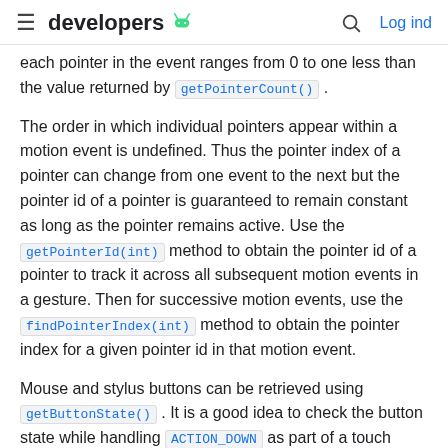≡ developers [Android logo] 🔍 Log ind
each pointer in the event ranges from 0 to one less than the value returned by getPointerCount().
The order in which individual pointers appear within a motion event is undefined. Thus the pointer index of a pointer can change from one event to the next but the pointer id of a pointer is guaranteed to remain constant as long as the pointer remains active. Use the getPointerId(int) method to obtain the pointer id of a pointer to track it across all subsequent motion events in a gesture. Then for successive motion events, use the findPointerIndex(int) method to obtain the pointer index for a given pointer id in that motion event.
Mouse and stylus buttons can be retrieved using getButtonState(). It is a good idea to check the button state while handling ACTION_DOWN as part of a touch